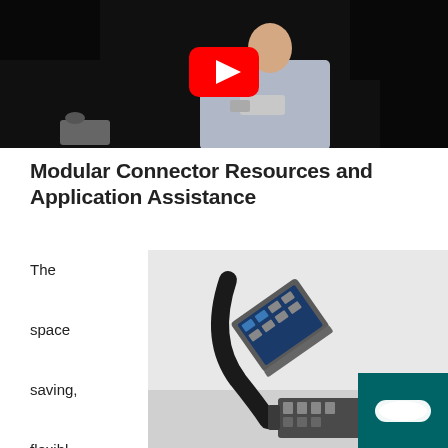[Figure (screenshot): YouTube video thumbnail showing a man in a light blue shirt holding a modular connector/component against a dark background, with a red YouTube play button overlay in the center]
Modular Connector Resources and Application Assistance
The space saving, flexible, smart and
[Figure (photo): Product photo of a modular connector assembly on a light grey background, showing a dark housing with cable attached tilted at an angle above a separate connector base with circuit board/contacts visible]